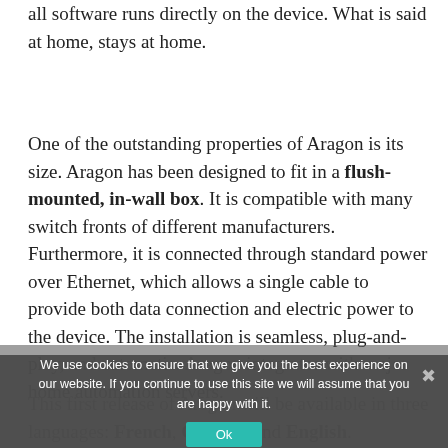all software runs directly on the device. What is said at home, stays at home.
One of the outstanding properties of Aragon is its size. Aragon has been designed to fit in a flush-mounted, in-wall box. It is compatible with many switch fronts of different manufacturers. Furthermore, it is connected through standard power over Ethernet, which allows a single cable to provide both data connection and electric power to the device. The installation is seamless, plug-and-play, and automatic. Aragon integrates with major home automation servers.
This first release of Aragon will be available in three languages: French, German and English.
We use cookies to ensure that we give you the best experience on our website. If you continue to use this site we will assume that you are happy with it.